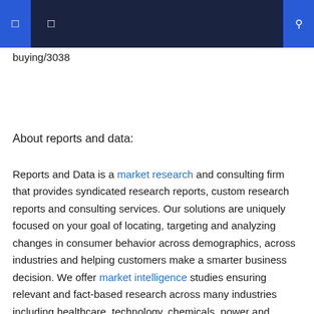Navigation bar with icons
buying/3038
About reports and data:
Reports and Data is a market research and consulting firm that provides syndicated research reports, custom research reports and consulting services. Our solutions are uniquely focused on your goal of locating, targeting and analyzing changes in consumer behavior across demographics, across industries and helping customers make a smarter business decision. We offer market intelligence studies ensuring relevant and fact-based research across many industries including healthcare, technology, chemicals, power and energy. We are constantly updating our search offerings to ensure that our clients are aware of the latest trends existing in the market. Reports and Data has a strong base of